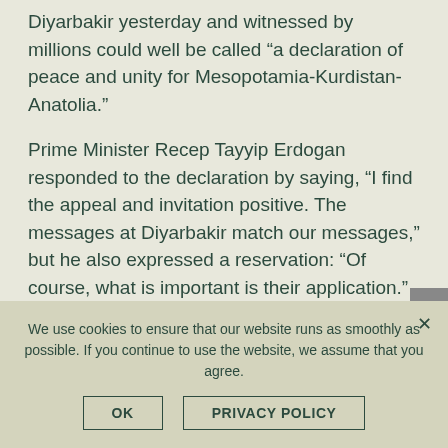Diyarbakir yesterday and witnessed by millions could well be called “a declaration of peace and unity for Mesopotamia-Kurdistan-Anatolia.”
Prime Minister Recep Tayyip Erdogan responded to the declaration by saying, “I find the appeal and invitation positive. The messages at Diyarbakir match our messages,” but he also expressed a reservation: “Of course, what is important is their application.”
Was there any missing element in Ocalan’s long-awaited declaration? Yes, there was. He did not
We use cookies to ensure that our website runs as smoothly as possible. If you continue to use the website, we assume that you agree.